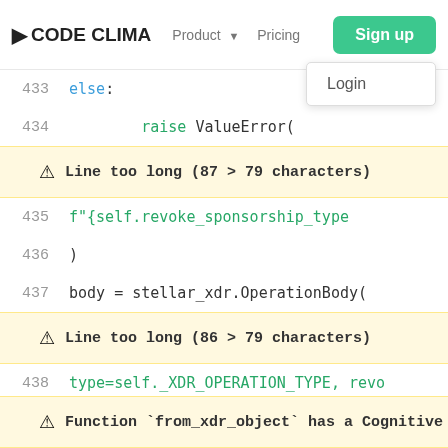CODE CLIMATE  Product  Pricing  Sign up  Login
433    else:
434        raise ValueError(
Warning: Line too long (87 > 79 characters)
435                f"{self.revoke_sponsorship_type
436                )
437        body = stellar_xdr.OperationBody(
Warning: Line too long (86 > 79 characters)
438                type=self._XDR_OPERATION_TYPE, revo
439                )
440        return body
441
Warning: Cyclomatic complexity is too high in method fro
442    @classmethod
Warning: Function `from_xdr_object` has a Cognitive Comp